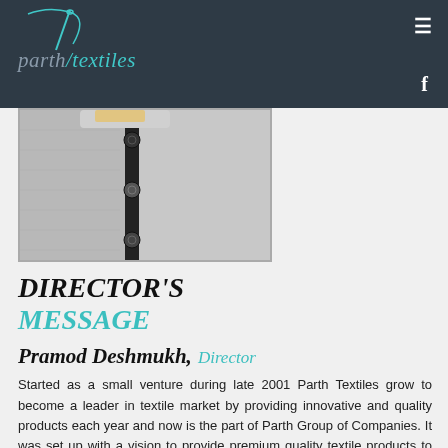[Figure (logo): Parth Textiles logo with needle graphic on dark navy header background]
[Figure (photo): Close-up photo of a grey fabric/shirt with black button placket and buttons]
DIRECTOR'S MESSAGE
Pramod Deshmukh, Director
Started as a small venture during late 2001 Parth Textiles grow to become a leader in textile market by providing innovative and quality products each year and now is the part of Parth Group of Companies. It was set up with a vision to provide premium quality textile products to its customers